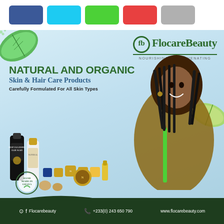[Figure (infographic): Social media color swatches bar: dark blue (Facebook), light blue (Twitter), green, red, gray rectangles]
[Figure (infographic): FlocareBeauty advertisement: light blue gradient background with green leaves, woman with braided hair holding products, natural and organic skin & hair care products display, company logo, headline text, footer with contact info]
NATURAL AND ORGANIC Skin & Hair Care Products
Carefully Formulated For All Skin Types
FlocareBeauty NOURISHING & REJUVENATING
Flocarebeauty  +233(0) 243 650 790  www.flocarebeauty.com